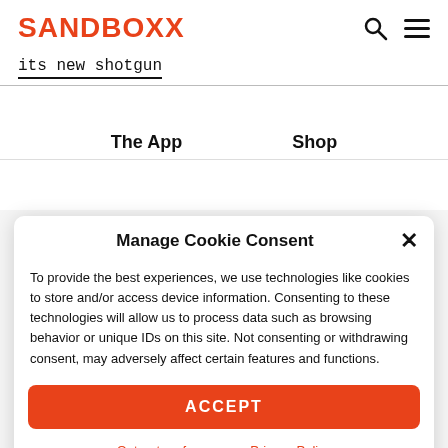SANDBOXX
its new shotgun
The App    Shop
Manage Cookie Consent
To provide the best experiences, we use technologies like cookies to store and/or access device information. Consenting to these technologies will allow us to process data such as browsing behavior or unique IDs on this site. Not consenting or withdrawing consent, may adversely affect certain features and functions.
ACCEPT
Opt-out preferences   Privacy Policy